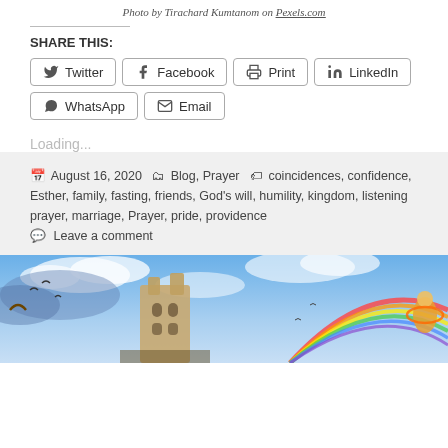Photo by Tirachard Kumtanom on Pexels.com
SHARE THIS:
Twitter | Facebook | Print | LinkedIn | WhatsApp | Email
Loading...
August 16, 2020  Blog, Prayer  coincidences, confidence, Esther, family, fasting, friends, God's will, humility, kingdom, listening prayer, marriage, Prayer, pride, providence  Leave a comment
[Figure (photo): Fantasy illustration showing a castle or temple structure under a dramatic blue sky with clouds, birds, a rainbow arc, and colorful fantasy figures on the right side.]